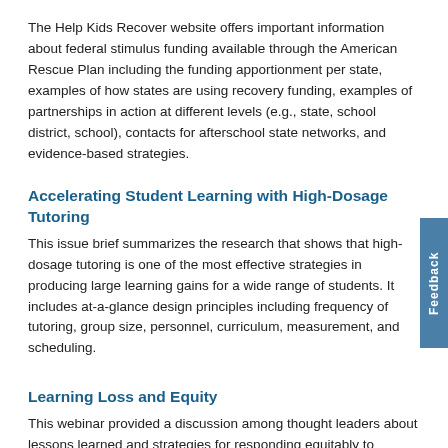The Help Kids Recover website offers important information about federal stimulus funding available through the American Rescue Plan including the funding apportionment per state, examples of how states are using recovery funding, examples of partnerships in action at different levels (e.g., state, school district, school), contacts for afterschool state networks, and evidence-based strategies.
Accelerating Student Learning with High-Dosage Tutoring
This issue brief summarizes the research that shows that high-dosage tutoring is one of the most effective strategies in producing large learning gains for a wide range of students. It includes at-a-glance design principles including frequency of tutoring, group size, personnel, curriculum, measurement, and scheduling.
Learning Loss and Equity
This webinar provided a discussion among thought leaders about lessons learned and strategies for responding equitably to learning loss and other loss resulting from the pandemic and child care and school closures. They suggested a strengths-based response to what children have learned while at home with their families.